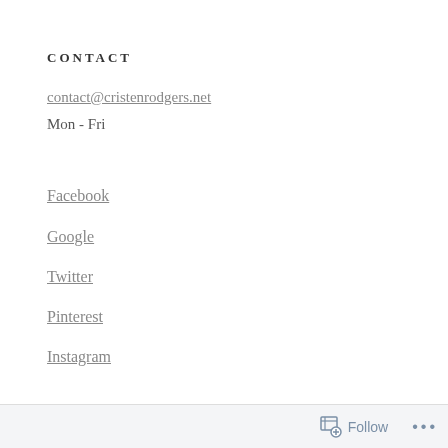CONTACT
contact@cristenrodgers.net
Mon - Fri
Facebook
Google
Twitter
Pinterest
Instagram
Follow ...